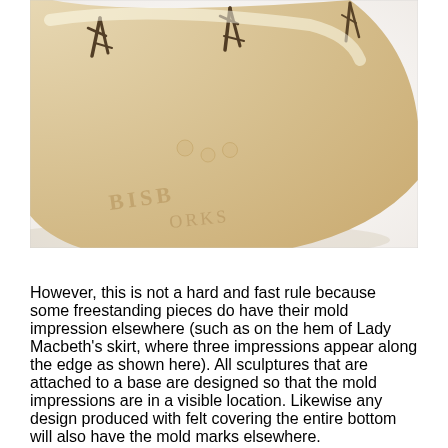[Figure (photo): Close-up photograph of a ceramic or porcelain sculpture piece showing the underside/edge of what appears to be a fan-shaped or skirt-hem piece in cream/ivory color with mold impression marks visible. Dark painted brush-stroke markings are visible at the top, and embossed/impressed text or pattern marks are visible in the surface.]
However, this is not a hard and fast rule because some freestanding pieces do have their mold impression elsewhere (such as on the hem of Lady Macbeth's skirt, where three impressions appear along the edge as shown here). All sculptures that are attached to a base are designed so that the mold impressions are in a visible location. Likewise any design produced with felt covering the entire bottom will also have the mold marks elsewhere.